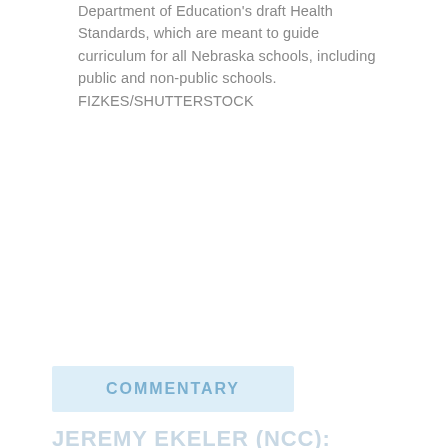Department of Education's draft Health Standards, which are meant to guide curriculum for all Nebraska schools, including public and non-public schools. FIZKES/SHUTTERSTOCK
COMMENTARY
JEREMY EKELER (NCC):